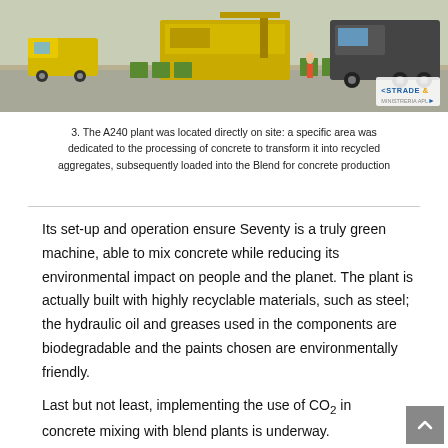[Figure (photo): Construction site with yellow mobile concrete mixing plant (A240) and trucks, with STRADE & MINISTRERIA APL logo overlay in bottom right corner.]
3. The A240 plant was located directly on site: a specific area was dedicated to the processing of concrete to transform it into recycled aggregates, subsequently loaded into the Blend for concrete production
Its set-up and operation ensure Seventy is a truly green machine, able to mix concrete while reducing its environmental impact on people and the planet. The plant is actually built with highly recyclable materials, such as steel; the hydraulic oil and greases used in the components are biodegradable and the paints chosen are environmentally friendly.
Last but not least, implementing the use of CO₂ in concrete mixing with blend plants is underway.